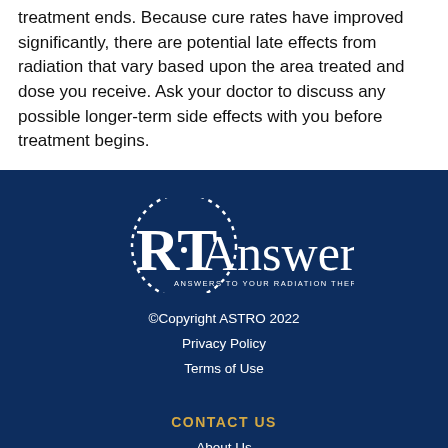treatment ends. Because cure rates have improved significantly, there are potential late effects from radiation that vary based upon the area treated and dose you receive. Ask your doctor to discuss any possible longer-term side effects with you before treatment begins.
[Figure (logo): RTAnswers logo - circular dotted ring with 'RT' in large serif font and 'Answers' text, subtitle 'ANSWERS TO YOUR RADIATION THERAPY QUESTIONS' on dark navy background]
©Copyright ASTRO 2022
Privacy Policy
Terms of Use
CONTACT US
About Us